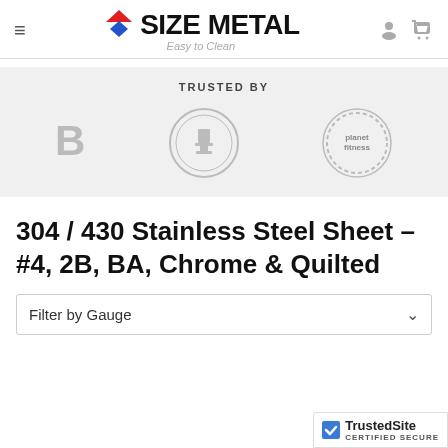SIZE METAL — Easy to Clean
[Figure (logo): Size Metal logo with red roof/house icon and blue diamond, bold text SIZE METAL, tagline 'Easy to Clean']
TRUSTED BY
[Figure (photo): Trusted by section with three company logos/seals including a circular seal and Planet Fitness logo]
304 / 430 Stainless Steel Sheet - #4, 2B, BA, Chrome & Quilted
Filter by Gauge
[Figure (logo): TrustedSite CERTIFIED SECURE badge in bottom right corner]